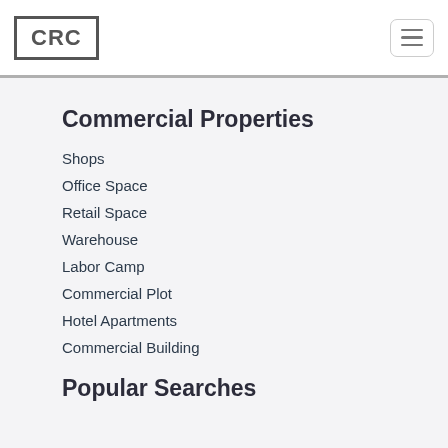CRC
Commercial Properties
Shops
Office Space
Retail Space
Warehouse
Labor Camp
Commercial Plot
Hotel Apartments
Commercial Building
Popular Searches